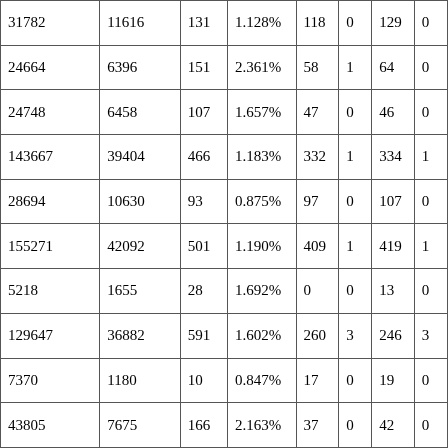| 31782 | 11616 | 131 | 1.128% | 118 | 0 | 129 | 0 |
| 24664 | 6396 | 151 | 2.361% | 58 | 1 | 64 | 0 |
| 24748 | 6458 | 107 | 1.657% | 47 | 0 | 46 | 0 |
| 143667 | 39404 | 466 | 1.183% | 332 | 1 | 334 | 1 |
| 28694 | 10630 | 93 | 0.875% | 97 | 0 | 107 | 0 |
| 155271 | 42092 | 501 | 1.190% | 409 | 1 | 419 | 1 |
| 5218 | 1655 | 28 | 1.692% | 0 | 0 | 13 | 0 |
| 129647 | 36882 | 591 | 1.602% | 260 | 3 | 246 | 3 |
| 7370 | 1180 | 10 | 0.847% | 17 | 0 | 19 | 0 |
| 43805 | 7675 | 166 | 2.163% | 37 | 0 | 42 | 0 |